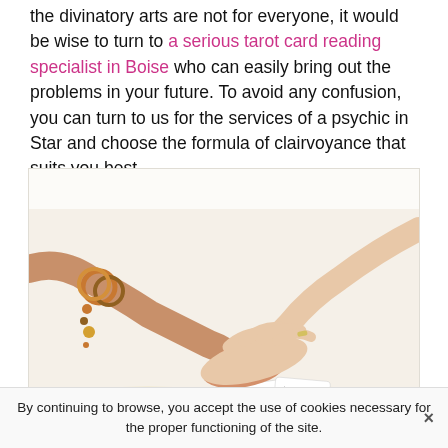the divinatory arts are not for everyone, it would be wise to turn to a serious tarot card reading specialist in Boise who can easily bring out the problems in your future. To avoid any confusion, you can turn to us for the services of a psychic in Star and choose the formula of clairvoyance that suits you best.
[Figure (photo): Two pairs of hands touching over an open book with playing cards on top. One person wears gold and brown beaded bracelets. The other person's hands have red fingernails. Background is white.]
By continuing to browse, you accept the use of cookies necessary for the proper functioning of the site.